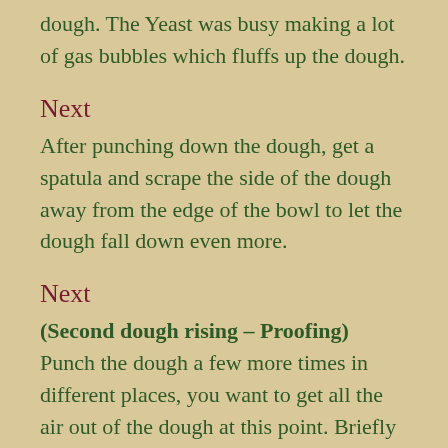dough. The Yeast was busy making a lot of gas bubbles which fluffs up the dough.
Next
After punching down the dough, get a spatula and scrape the side of the dough away from the edge of the bowl to let the dough fall down even more.
Next
(Second dough rising – Proofing) Punch the dough a few more times in different places, you want to get all the air out of the dough at this point. Briefly work with the dough getting it into a ball again. Rub olive oil on the inside of your bowl again. Place the dough ball back in